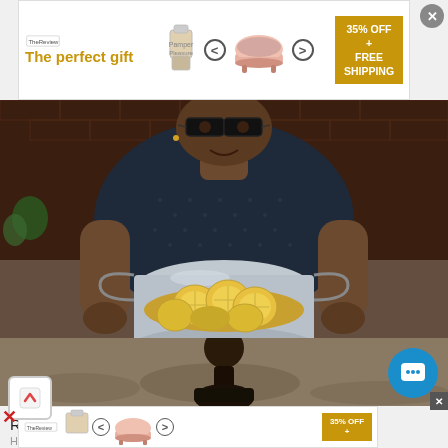[Figure (photo): Advertisement banner at top showing 'The perfect gift' with product images, navigation arrows, and '35% OFF + FREE SHIPPING' badge]
[Figure (photo): Photo of Randy Jackson, a man with large black glasses wearing a dark patterned shirt, holding a stainless steel pot containing lemon slices in liquid, in a kitchen setting]
1 Simple Routine That Melts Away Belly Fat
Randy Jackson: This completely transformed my health
Health Gut Boost | Sponsored
[Figure (photo): Partial bottom image showing a person outdoors on sand/dirt terrain]
[Figure (photo): Partial second advertisement banner at the bottom, same as the top ad with '35% OFF' badge]